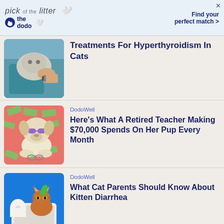[Figure (illustration): Advertisement banner for 'The Dodo' pick of the litter with pet photos and 'Find your perfect match >' text]
[Figure (photo): Veterinarian examining a cat (thumbnail for Hyperthyroidism article)]
Treatments For Hyperthyroidism In Cats
DodoWell
[Figure (photo): Dog wearing sunglasses surrounded by money bills on pink background]
Here's What A Retired Teacher Making $70,000 Spends On Her Pup Every Month
DodoWell
[Figure (photo): Orange cat sitting in litter box on blue background with toilet paper rolls]
What Cat Parents Should Know About Kitten Diarrhea